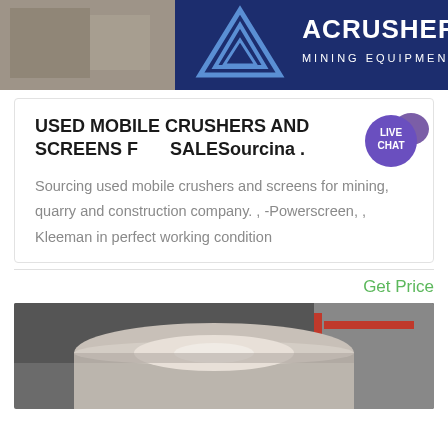[Figure (photo): ACrusher Mining Equipment banner with logo and blue background]
USED MOBILE CRUSHERS AND SCREENS FOR SALESourcing .
Sourcing used mobile crushers and screens for mining, quarry and construction company. , -Powerscreen, , Kleeman in perfect working condition
Get Price
[Figure (photo): Industrial mining equipment close-up photo]